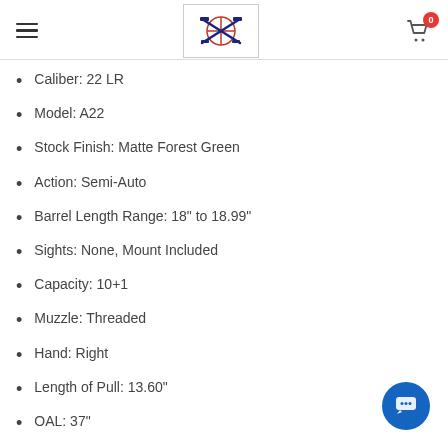Navigation header with hamburger menu, logo, and cart icon with 0 badge
Caliber: 22 LR
Model: A22
Stock Finish: Matte Forest Green
Action: Semi-Auto
Barrel Length Range: 18" to 18.99"
Sights: None, Mount Included
Capacity: 10+1
Muzzle: Threaded
Hand: Right
Length of Pull: 13.60"
OAL: 37"
Receiver Finish: Black